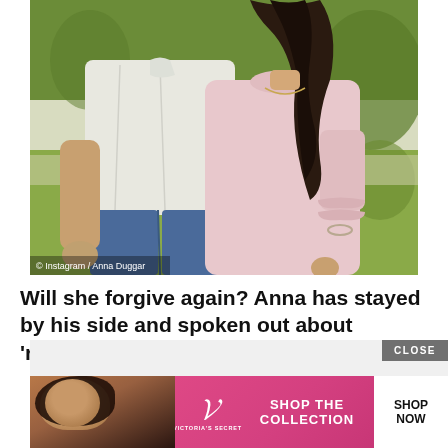[Figure (photo): A man in a white short-sleeve button-up shirt and blue jeans standing next to a woman in a light pink long-sleeve dress with ruffle cuffs, both outdoors on a green lawn. Photo credit: Instagram / Anna Duggar]
© Instagram / Anna Duggar
Will she forgive again? Anna has stayed by his side and spoken out about ‘redemption’
[Figure (infographic): Advertisement banner: Victoria's Secret - Shop The Collection - Shop Now button. Features a model with curly hair on a pink background.]